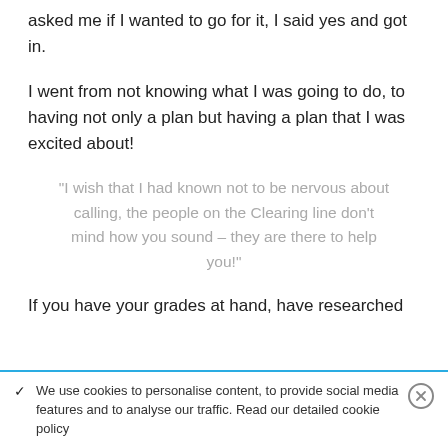asked me if I wanted to go for it, I said yes and got in.
I went from not knowing what I was going to do, to having not only a plan but having a plan that I was excited about!
“I wish that I had known not to be nervous about calling, the people on the Clearing line don’t mind how you sound – they are there to help you!”
If you have your grades at hand, have researched
We use cookies to personalise content, to provide social media features and to analyse our traffic. Read our detailed cookie policy